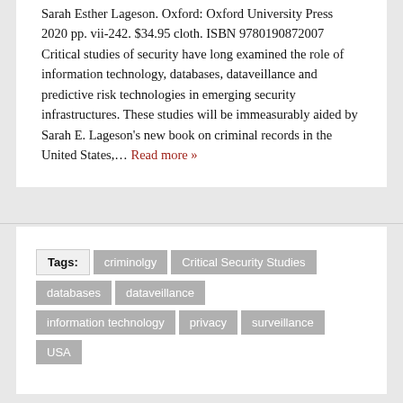Sarah Esther Lageson. Oxford: Oxford University Press 2020 pp. vii-242. $34.95 cloth. ISBN 9780190872007 Critical studies of security have long examined the role of information technology, databases, dataveillance and predictive risk technologies in emerging security infrastructures. These studies will be immeasurably aided by Sarah E. Lageson's new book on criminal records in the United States,… Read more »
Tags: criminolgy | Critical Security Studies | databases | dataveillance | information technology | privacy | surveillance | USA